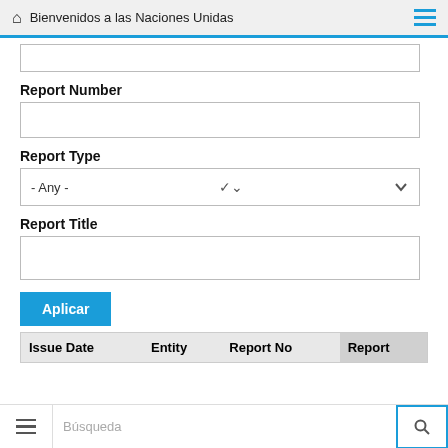Bienvenidos a las Naciones Unidas
Report Number
Report Type
Report Title
Aplicar
| Issue Date | Entity | Report No | Report |
| --- | --- | --- | --- |